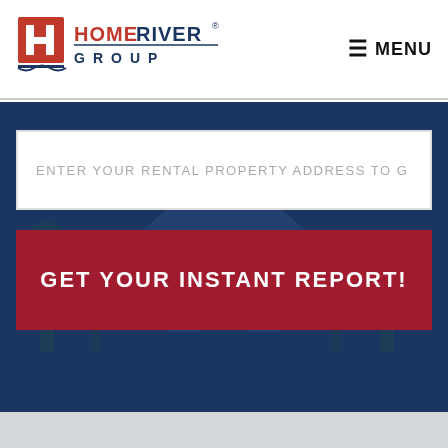[Figure (logo): HomeRiver Group logo with red H icon and blue/red text]
☰ MENU
ENTER YOUR RENTAL PROPERTY ADDRESS TO G
GET YOUR INSTANT REPORT!